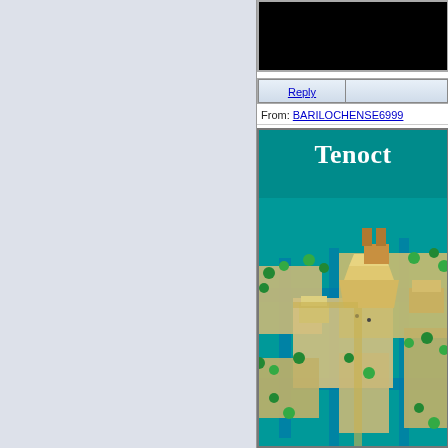[Figure (screenshot): Left panel with light blue-gray background, part of a web forum or email interface]
[Figure (screenshot): Top portion shows a black rectangle (cropped image/video). Below is a Reply button bar. From line shows 'From: BARILOCHENSE6999'. Main content is an image with teal background and white bold text 'Tenoct' (Tenochtitlan, cropped) with a 3D illustrated aerial view of an ancient Aztec city.]